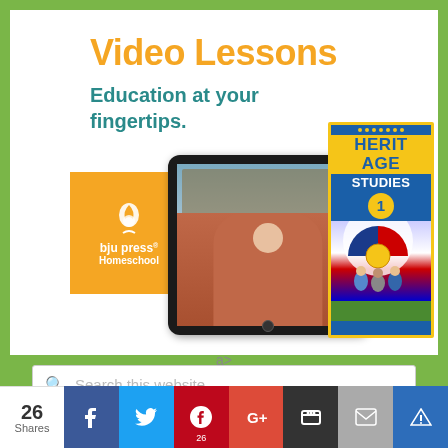Video Lessons
Education at your fingertips.
[Figure (illustration): BJU Press Homeschool orange logo box, a tablet showing a teacher in a classroom, and the Heritage Studies 1 book cover]
a>
Search this website
26 Shares
[Figure (infographic): Social sharing buttons: Facebook, Twitter, Pinterest (26), Google+, Buffer, Email, Crown]